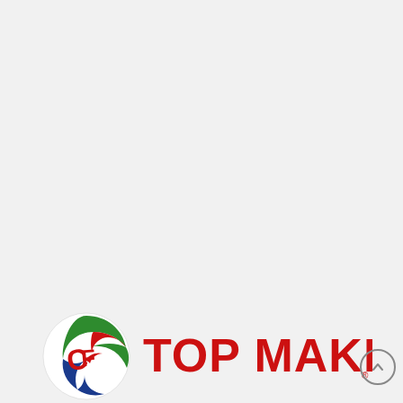[Figure (logo): Top Maker logo consisting of a circular emblem with stylized CF letters in red, green, and blue swirl design, followed by the bold red text 'TOP MAKER' with a registered trademark symbol]